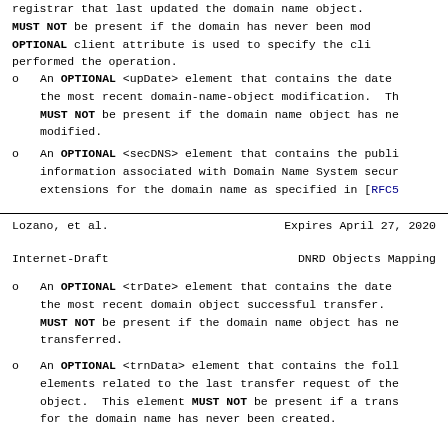registrar that last updated the domain name object. MUST NOT be present if the domain has never been modified. OPTIONAL client attribute is used to specify the client that performed the operation.
An OPTIONAL <upDate> element that contains the date and time of the most recent domain-name-object modification. This element MUST NOT be present if the domain name object has never been modified.
An OPTIONAL <secDNS> element that contains the public-key information associated with Domain Name System security (DNSSEC) extensions for the domain name as specified in [RFC5910].
Lozano, et al.                 Expires April 27, 2020
Internet-Draft                 DNRD Objects Mapping
An OPTIONAL <trDate> element that contains the date and time of the most recent domain object successful transfer. This element MUST NOT be present if the domain name object has never been transferred.
An OPTIONAL <trnData> element that contains the following elements related to the last transfer request of the domain object. This element MUST NOT be present if a transfer for the domain name has never been created.